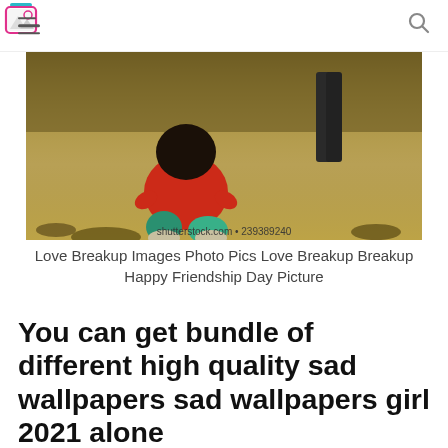[hamburger menu] [logo icon] [search icon]
[Figure (photo): A girl in a red top sitting on grass, viewed from behind, with another person standing in the background. Watermark: shutterstock.com • 239389240]
Love Breakup Images Photo Pics Love Breakup Breakup Happy Friendship Day Picture
You can get bundle of different high quality sad wallpapers sad wallpapers girl 2021 alone